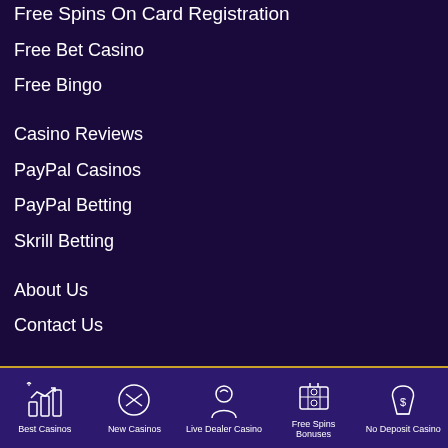Free Spins On Card Registration
Free Bet Casino
Free Bingo
Casino Reviews
PayPal Casinos
PayPal Betting
Skrill Betting
About Us
Contact Us
Copyright 2022 - inkedin.com
Best Casinos | New Casinos | Live Dealer Casino | Free Spins Bonuses | No Deposit Casino